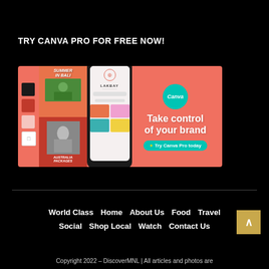TRY CANVA PRO FOR FREE NOW!
[Figure (screenshot): Canva Pro advertisement banner showing a smartphone mockup with the Lakbay brand on screen, color swatches on the left, travel-themed thumbnails, a teal Canva logo badge, and the text 'Take control of your brand' with a 'Try Canva Pro today' CTA button on a coral/salmon background.]
World Class
Home
About Us
Food
Travel
Social
Shop Local
Watch
Contact Us
Copyright 2022 – DiscoverMNL | All articles and photos are